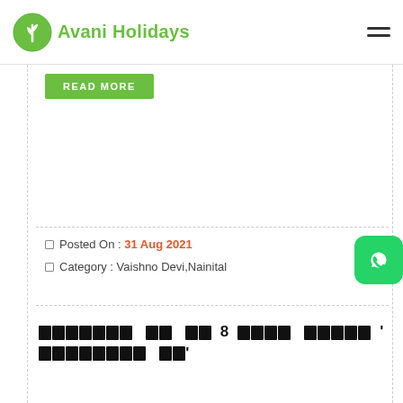Avani Holidays
READ MORE
Posted On : 31 Aug 2021
Category : Vaishno Devi,Nainital
[Hindi/blocked title text]